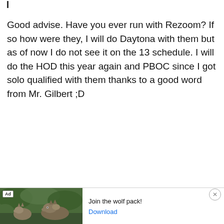Good advise. Have you ever run with Rezoom? If so how were they, I will do Daytona with them but as of now I do not see it on the 13 schedule. I will do the HOD this year again and PBOC since I got solo qualified with them thanks to a good word from Mr. Gilbert ;D
[Figure (photo): Advertisement banner showing wolves in a forest scene with 'Ad' label, text 'Join the wolf pack!' and a 'Download' link button, with an X close button.]